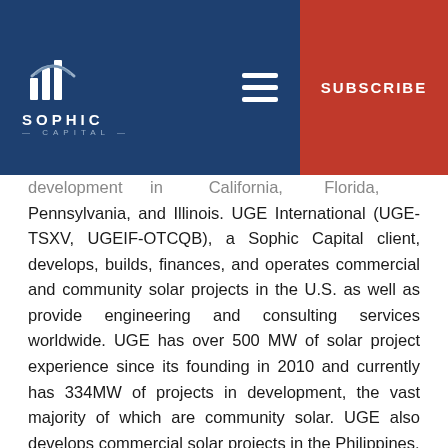SOPHIC CAPITAL | SUBSCRIBE
development in California, Florida, Pennsylvania, and Illinois. UGE International (UGE-TSXV, UGEIF-OTCQB), a Sophic Capital client, develops, builds, finances, and operates commercial and community solar projects in the U.S. as well as provide engineering and consulting services worldwide. UGE has over 500 MW of solar project experience since its founding in 2010 and currently has 334MW of projects in development, the vast majority of which are community solar. UGE also develops commercial solar projects in the Philippines. https://bit.ly/3y2cGh6